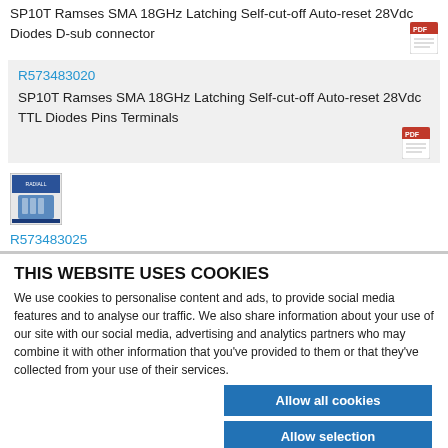SP10T Ramses SMA 18GHz Latching Self-cut-off Auto-reset 28Vdc Diodes D-sub connector
R573483020
SP10T Ramses SMA 18GHz Latching Self-cut-off Auto-reset 28Vdc TTL Diodes Pins Terminals
[Figure (photo): Product thumbnail image showing a small electronic component]
R573483025
THIS WEBSITE USES COOKIES
We use cookies to personalise content and ads, to provide social media features and to analyse our traffic. We also share information about your use of our site with our social media, advertising and analytics partners who may combine it with other information that you've provided to them or that they've collected from your use of their services.
Allow all cookies
Allow selection
Use necessary cookies only